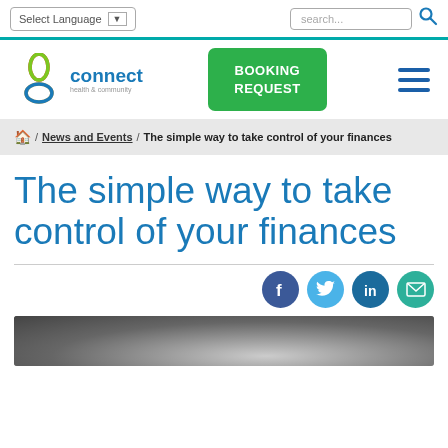Select Language | ▼    search...
[Figure (logo): Connect health & community logo with colorful petal shapes]
BOOKING REQUEST
☰ (hamburger menu icon)
🏠 / News and Events / The simple way to take control of your finances
The simple way to take control of your finances
Social share icons: Facebook, Twitter, LinkedIn, Email
[Figure (photo): Partial photo of a person at the bottom of the page]